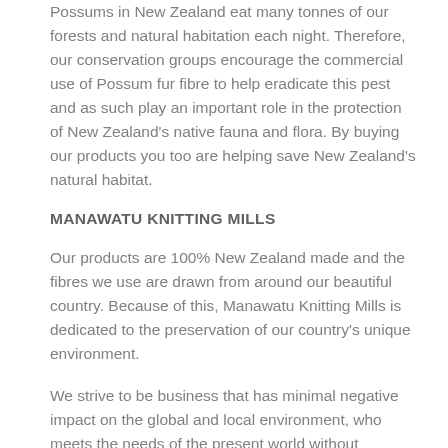Possums in New Zealand eat many tonnes of our forests and natural habitation each night.  Therefore, our conservation groups encourage the commercial use of Possum fur fibre to help eradicate this pest and as such play an important role in the protection of New Zealand's native fauna and flora.  By buying our products you too are helping save New Zealand's natural habitat.
MANAWATU KNITTING MILLS
Our products are 100% New Zealand made and the fibres we use are drawn from around our beautiful country.  Because of this, Manawatu Knitting Mills is dedicated to the preservation of our country's unique environment.
We strive to be business that has minimal negative impact on the global and local environment, who meets the needs of the present world without compromising the ability of future generations to meet theirs.
We are a family owned business with connections dating back